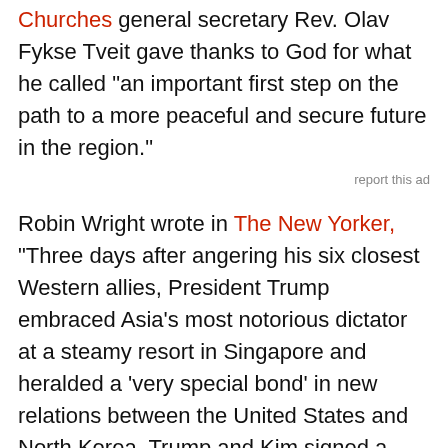Churches general secretary Rev. Olav Fykse Tveit gave thanks to God for what he called "an important first step on the path to a more peaceful and secure future in the region."
report this ad
Robin Wright wrote in The New Yorker, "Three days after angering his six closest Western allies, President Trump embraced Asia's most notorious dictator at a steamy resort in Singapore and heralded a 'very special bond' in new relations between the United States and North Korea. Trump and Kim signed a two-page statement - big on ideas but slim on specifics - that committed North Korea to 'complete denuclearization' and said that the United States would 'provide security guarantees' for a country with which it is still technically at war."
The Singapore Summit on June 12 between the United States and the Democratic Republic of Korea...